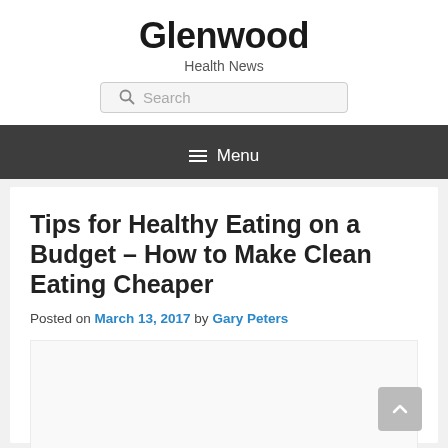Glenwood
Health News
Tips for Healthy Eating on a Budget – How to Make Clean Eating Cheaper
Posted on March 13, 2017 by Gary Peters
[Figure (other): Blank placeholder image area below article meta]